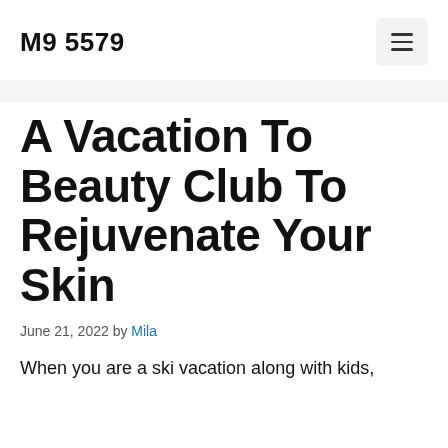M9 5579
A Vacation To Beauty Club To Rejuvenate Your Skin
June 21, 2022 by Mila
When you are a ski vacation along with kids,